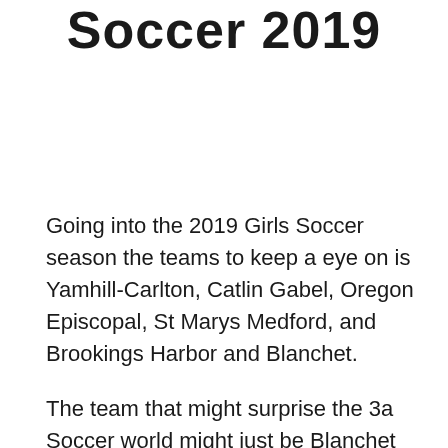Soccer 2019
Going into the 2019 Girls Soccer season the teams to keep a eye on is Yamhill-Carlton, Catlin Gabel, Oregon Episcopal, St Marys Medford, and Brookings Harbor and Blanchet.
The team that might surprise the 3a Soccer world might just be Blanchet as they were ranked #5 or OSA last year or so be d...